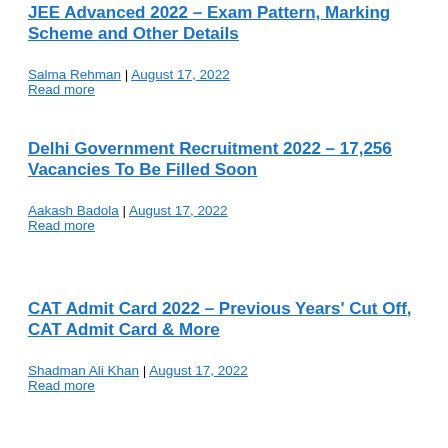JEE Advanced 2022 – Exam Pattern, Marking Scheme and Other Details
Salma Rehman | August 17, 2022
Read more
Delhi Government Recruitment 2022 – 17,256 Vacancies To Be Filled Soon
Aakash Badola | August 17, 2022
Read more
CAT Admit Card 2022 – Previous Years' Cut Off, CAT Admit Card & More
Shadman Ali Khan | August 17, 2022
Read more